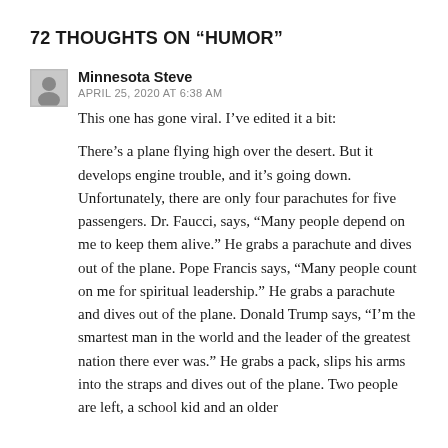72 THOUGHTS ON “HUMOR”
Minnesota Steve
APRIL 25, 2020 AT 6:38 AM
This one has gone viral. I’ve edited it a bit:

There’s a plane flying high over the desert. But it develops engine trouble, and it’s going down. Unfortunately, there are only four parachutes for five passengers. Dr. Faucci, says, “Many people depend on me to keep them alive.” He grabs a parachute and dives out of the plane. Pope Francis says, “Many people count on me for spiritual leadership.” He grabs a parachute and dives out of the plane. Donald Trump says, “I’m the smartest man in the world and the leader of the greatest nation there ever was.” He grabs a pack, slips his arms into the straps and dives out of the plane. Two people are left, a school kid and an older